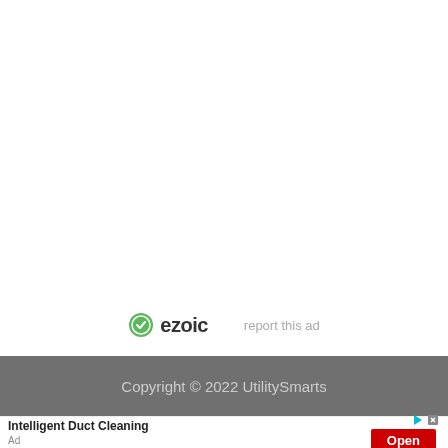[Figure (logo): Ezoic logo with green circular icon and 'ezoic' text in dark, alongside 'report this ad' link in light gray]
Copyright © 2022 UtilitySmarts
[Figure (other): Advertisement bar: 'Intelligent Duct Cleaning' with red Open button and ad controls]